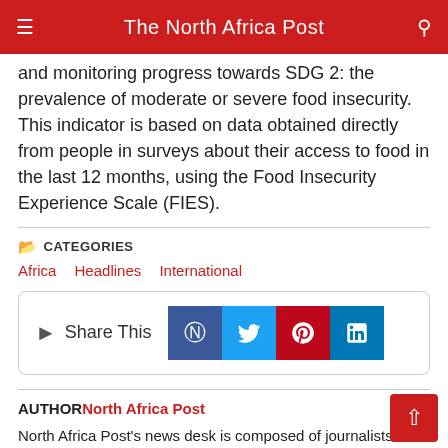The North Africa Post
and monitoring progress towards SDG 2: the prevalence of moderate or severe food insecurity. This indicator is based on data obtained directly from people in surveys about their access to food in the last 12 months, using the Food Insecurity Experience Scale (FIES).
CATEGORIES
Africa · Headlines · International
[Figure (infographic): Share This box with social media buttons: Facebook, Twitter, Pinterest, LinkedIn]
AUTHOR North Africa Post
North Africa Post's news desk is composed of journalists and editors, who are constantly working to provide new and accurate